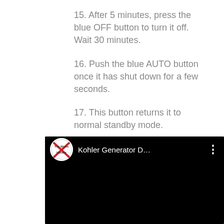15. After 5 minutes, press the blue OFF button to turn it off. Wait 30 minutes.
16. Push the blue AUTO button once it has shut down for a few seconds.
17. This button returns it to normal standby mode.
[Figure (screenshot): YouTube-style video player thumbnail showing a channel icon with 'The Blues Hacker' logo, the video title 'Kohler Generator D...' and a vertical ellipsis menu button on a black background.]